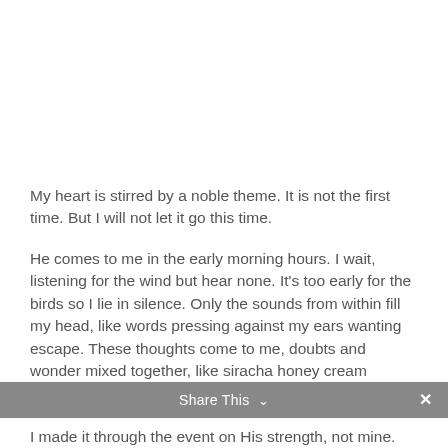My heart is stirred by a noble theme. It is not the first time. But I will not let it go this time.
He comes to me in the early morning hours. I wait, listening for the wind but hear none. It’s too early for the birds so I lie in silence. Only the sounds from within fill my head, like words pressing against my ears wanting escape. These thoughts come to me, doubts and wonder mixed together, like siracha honey cream cheese.
Share This ∨  ×
I made it through the event on His strength, not mine.